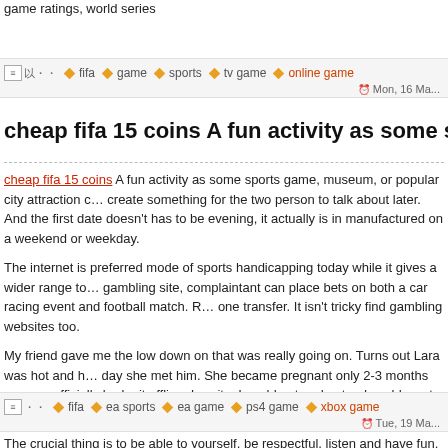game ratings, world series
fifa  game  sports  tv game  online game  Mon, 16 Ma...
cheap fifa 15 coins A fun activity as some sports gam...
cheap fifa 15 coins A fun activity as some sports game, museum, or popular city attraction c... create something for the two person to talk about later. And the first date doesn't has to be evening, it actually is in manufactured on a weekend or weekday.
The internet is preferred mode of sports handicapping today while it gives a wider range to... gambling site, complaintant can place bets on both a car racing event and football match. R... one transfer. It isn't tricky find gambling websites too.
My friend gave me the low down on that was really going on. Turns out Lara was hot and h... day she met him. She became pregnant only 2-3 months even as officially broke it offline. I... site. I could not understand could went from being within a relationship with someone to ha...
The crucial thing is to be able to yourself, be respectful, listen and have fun. Be the type of... to date and you'll have an improved chance at getting one more date.
game manufactured, hottest football players
fifa  ea sports  ea game  ps4 game  xbox game  Tue, 19 Ma...